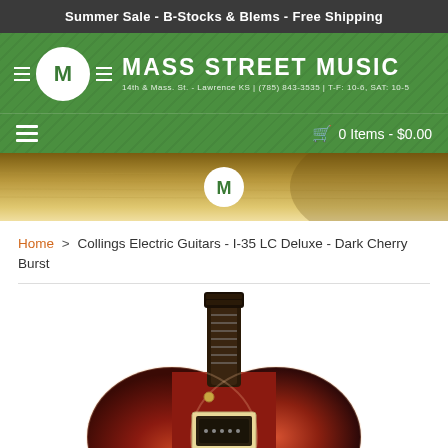Summer Sale - B-Stocks & Blems - Free Shipping
[Figure (logo): Mass Street Music logo with M circle emblem and decorative lines on green textured background. Subtitle: 14th & Mass. St. - Lawrence KS | (785) 843-3535 | T-F: 10-6, SAT: 10-5]
0 Items - $0.00
[Figure (photo): Hero banner showing close-up of acoustic guitar body and strings on warm golden/amber background with Mass Street Music M logo circle overlay]
Home > Collings Electric Guitars - I-35 LC Deluxe - Dark Cherry Burst
[Figure (photo): Product photo of Collings I-35 LC Deluxe electric guitar in Dark Cherry Burst finish, showing front view of semi-hollow body with dark cherry burst coloring and neck with fretboard]